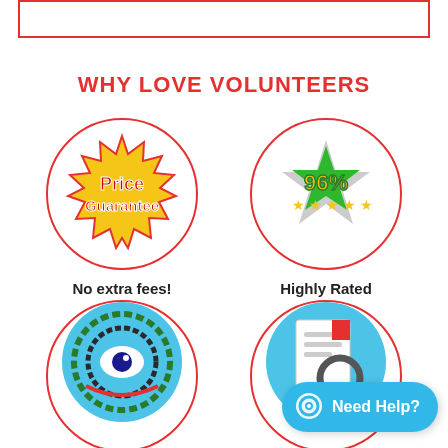WHY LOVE VOLUNTEERS
[Figure (illustration): Price Guarantee badge icon inside a red-bordered circle. Yellow starburst/seal shape with red text reading 'Price Guarantee'.]
No extra fees!
[Figure (illustration): 96% rating icon inside a red-bordered circle. Green star shape with yellow '96%' text and five yellow stars below.]
Highly Rated
[Figure (illustration): Eye/surveillance icon inside a red-bordered circle. Blue circle with a digital eye graphic.]
[Figure (illustration): Document search icon inside a red-bordered circle. Paper document with a magnifying glass.]
Need Help?